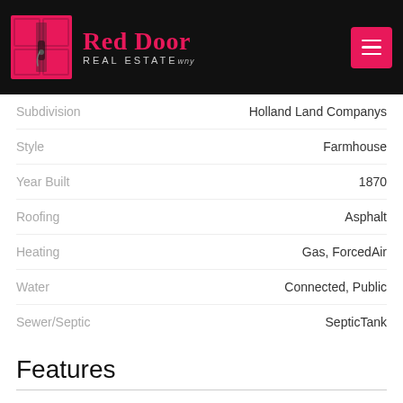[Figure (logo): Red Door Real Estate logo with pink door icon on black background and hamburger menu button]
| Property | Value |
| --- | --- |
| Subdivision | Holland Land Companys |
| Style | Farmhouse |
| Year Built | 1870 |
| Roofing | Asphalt |
| Heating | Gas, ForcedAir |
| Water | Connected, Public |
| Sewer/Septic | SepticTank |
Features
| Feature | Value |
| --- | --- |
| Exterior | GravelDriveway |
| Interior | EatinKitchen,SeparateFormalLivingRoom,Co |